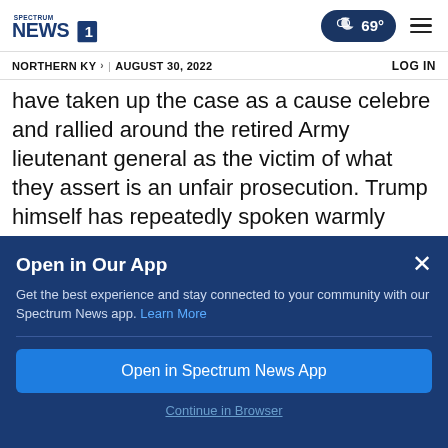[Figure (logo): Spectrum News 1 logo]
NORTHERN KY > | AUGUST 30, 2022    LOG IN
have taken up the case as a cause celebre and rallied around the retired Army lieutenant general as the victim of what they assert is an unfair prosecution. Trump himself has repeatedly spoken warmly about Flynn, even though special counsel Robert Mueller's prosecutors once
Open in Our App
Get the best experience and stay connected to your community with our Spectrum News app. Learn More
Open in Spectrum News App
Continue in Browser